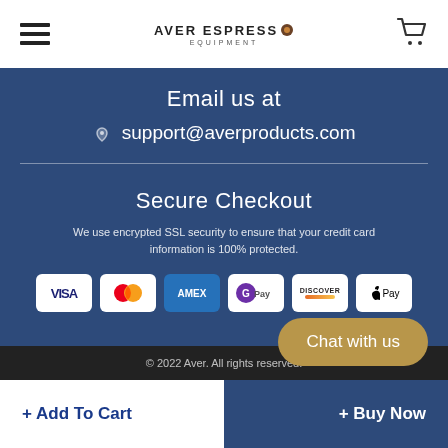Aver Espresso Equipment
Email us at
support@averproducts.com
Secure Checkout
We use encrypted SSL security to ensure that your credit card information is 100% protected.
[Figure (infographic): Payment method icons: VISA, Mastercard, AMEX, GPay, Discover, Apple Pay]
© 2022 Aver. All rights reserved.
+ Add To Cart
+ Buy Now